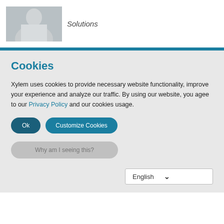[Figure (photo): Partial view of a person in a grey suit jacket, cropped at top of page]
Solutions
Cookies
Xylem uses cookies to provide necessary website functionality, improve your experience and analyze our traffic. By using our website, you agee to our Privacy Policy and our cookies usage.
Ok
Customize Cookies
Why am I seeing this?
English